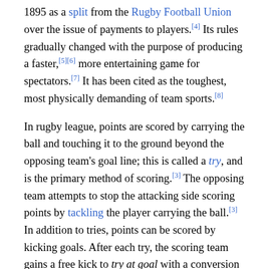1895 as a split from the Rugby Football Union over the issue of payments to players.[4] Its rules gradually changed with the purpose of producing a faster,[5][6] more entertaining game for spectators.[7] It has been cited as the toughest, most physically demanding of team sports.[8]
In rugby league, points are scored by carrying the ball and touching it to the ground beyond the opposing team's goal line; this is called a try, and is the primary method of scoring.[3] The opposing team attempts to stop the attacking side scoring points by tackling the player carrying the ball.[3] In addition to tries, points can be scored by kicking goals. After each try, the scoring team gains a free kick to try at goal with a conversion for further points.[3] Kicks at goal may also be awarded for penalties, and field goals can be attempted at any time.
Rugby league is a popular sport in England, especially